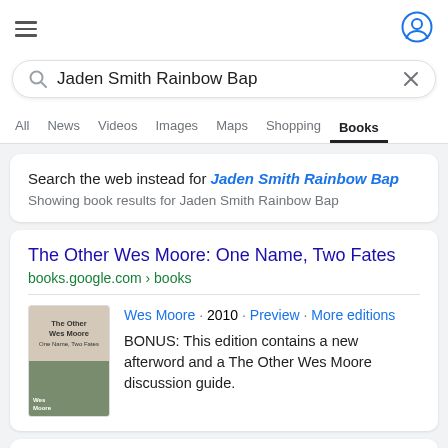[Figure (screenshot): Hamburger menu icon (three horizontal lines) in top left corner]
[Figure (screenshot): User/account circle icon in top right corner]
Jaden Smith Rainbow Bap
All  News  Videos  Images  Maps  Shopping  Books
Search the web instead for Jaden Smith Rainbow Bap
Showing book results for Jaden Smith Rainbow Bap
The Other Wes Moore: One Name, Two Fates
books.google.com › books
Wes Moore · 2010 · Preview · More editions
BONUS: This edition contains a new afterword and a The Other Wes Moore discussion guide.